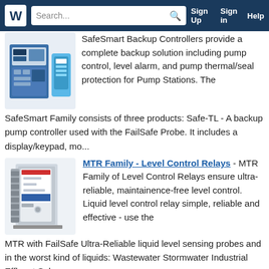Search... | Sign Up | Sign in | Help
SafeSmart Backup Controllers provide a complete backup solution including pump control, level alarm, and pump thermal/seal protection for Pump Stations. The SafeSmart Family consists of three products: Safe-TL - A backup pump controller used with the FailSafe Probe. It includes a display/keypad, mo...
MTR Family - Level Control Relays
MTR Family - Level Control Relays - MTR Family of Level Control Relays ensure ultra-reliable, maintainence-free level control. Liquid level control relay simple, reliable and effective - use the MTR with FailSafe Ultra-Reliable liquid level sensing probes and in the worst kind of liquids: Wastewater Stormwater Industrial Effluent Sul...
Flygt LTU 801
Flygt LTU 801 - The Flygt LTU 801